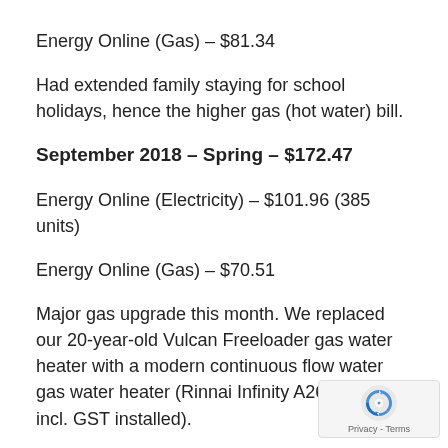Energy Online (Gas) – $81.34
Had extended family staying for school holidays, hence the higher gas (hot water) bill.
September 2018 – Spring – $172.47
Energy Online (Electricity) – $101.96 (385 units)
Energy Online (Gas) – $70.51
Major gas upgrade this month. We replaced our 20-year-old Vulcan Freeloader gas water heater with a modern continuous flow water gas water heater (Rinnai Infinity A26, $3050 incl. GST installed).
This will give us more outdoor space (the Freeloade… large and in a silly location) and I am expecting will lower